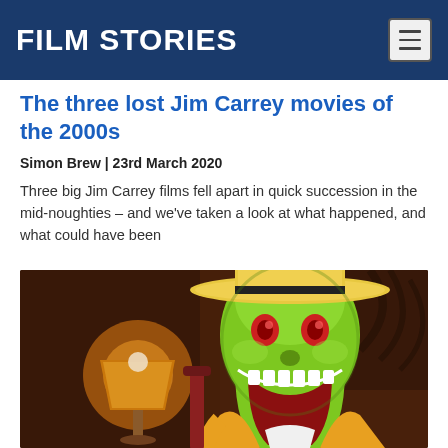FILM STORIES
The three lost Jim Carrey movies of the 2000s
Simon Brew | 23rd March 2020
Three big Jim Carrey films fell apart in quick succession in the mid-noughties – and we've taken a look at what happened, and what could have been
[Figure (photo): Jim Carrey as The Mask character – green-faced cartoon-like character with a wide grin, yellow hat and suit, in a warmly lit room with a lamp visible in the background]